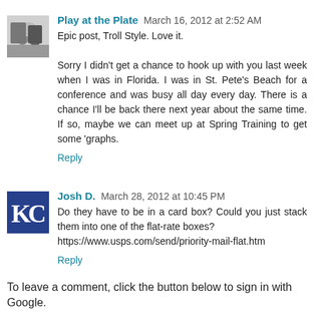[Figure (photo): Black and white baseball photo avatar for Play at the Plate]
Play at the Plate  March 16, 2012 at 2:52 AM
Epic post, Troll Style. Love it.

Sorry I didn't get a chance to hook up with you last week when I was in Florida. I was in St. Pete's Beach for a conference and was busy all day every day. There is a chance I'll be back there next year about the same time. If so, maybe we can meet up at Spring Training to get some 'graphs.
Reply
[Figure (logo): Kansas City Royals KC logo — blue square with white KC letters]
Josh D.  March 28, 2012 at 10:45 PM
Do they have to be in a card box? Could you just stack them into one of the flat-rate boxes?
https://www.usps.com/send/priority-mail-flat.htm
Reply
To leave a comment, click the button below to sign in with Google.